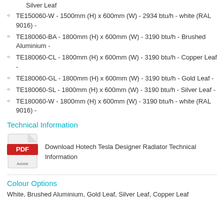TE150060-W - 1500mm (H) x 600mm (W) - 2934 btu/h - white (RAL 9016) -
TE180060-BA - 1800mm (H) x 600mm (W) - 3190 btu/h - Brushed Aluminium -
TE180060-CL - 1800mm (H) x 600mm (W) - 3190 btu/h - Copper Leaf -
TE180060-GL - 1800mm (H) x 600mm (W) - 3190 btu/h - Gold Leaf -
TE180060-SL - 1800mm (H) x 600mm (W) - 3190 btu/h - Silver Leaf -
TE180060-W - 1800mm (H) x 600mm (W) - 3190 btu/h - white (RAL 9016) -
Technical Information
[Figure (other): Adobe PDF icon]
Download Hotech Tesla Designer Radiator Technical Information
Colour Options
White, Brushed Aluminium, Gold Leaf, Silver Leaf, Copper Leaf